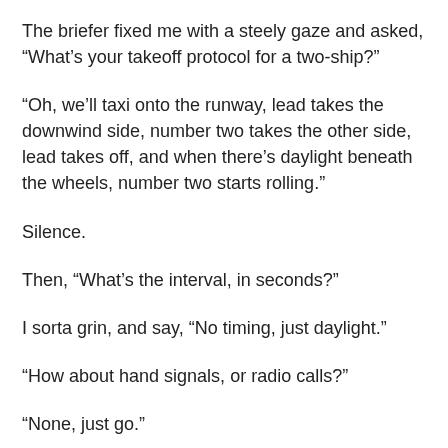The briefer fixed me with a steely gaze and asked, “What’s your takeoff protocol for a two-ship?”
“Oh, we’ll taxi onto the runway, lead takes the downwind side, number two takes the other side, lead takes off, and when there’s daylight beneath the wheels, number two starts rolling.”
Silence.
Then, “What’s the interval, in seconds?”
I sorta grin, and say, “No timing, just daylight.”
“How about hand signals, or radio calls?”
“None, just go.”